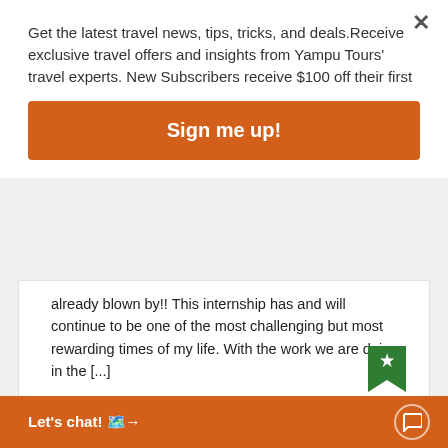Get the latest travel news, tips, tricks, and deals.Receive exclusive travel offers and insights from Yampu Tours' travel experts. New Subscribers receive $100 off their first
Sign me up!
already blown by!! This internship has and will continue to be one of the most challenging but most rewarding times of my life. With the work we are doing in the [...]
[Figure (infographic): Social sharing icons row: Google+, Facebook, Twitter, LinkedIn, Pinterest - all in light gray]
[Figure (infographic): Green bookmark icon and orange 'Let's chat!' chat widget bar at bottom]
Let's chat! 🗺️→